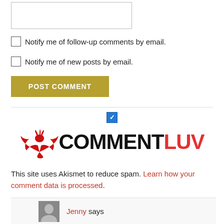[Figure (screenshot): Text input box (form field)]
Notify me of follow-up comments by email.
Notify me of new posts by email.
POST COMMENT
[Figure (logo): CommentLuv logo with red bird/phoenix and text COMMENTLUV in black and red, with a blue checkbox above it]
This site uses Akismet to reduce spam. Learn how your comment data is processed.
Jenny says